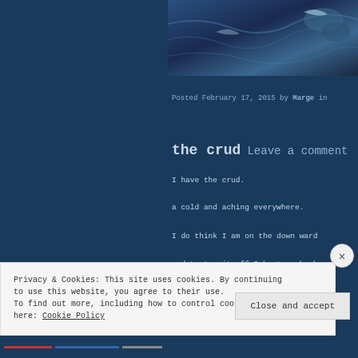[Figure (photo): Dark blue water or ocean surface photograph at top right of page]
Posted February 17, 2015 by Marge in
the crud   Leave a comment
I have the crud.
a cold and aching everywhere.
I do think I am on the down ward
and to top it off I hurt my back
Privacy & Cookies: This site uses cookies. By continuing to use this website, you agree to their use.
To find out more, including how to control cookies, see here: Cookie Policy
Close and accept